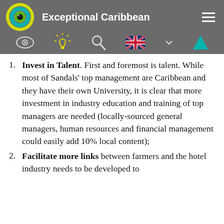Exceptional Caribbean
Invest in Talent. First and foremost is talent. While most of Sandals' top management are Caribbean and they have their own University, it is clear that more investment in industry education and training of top managers are needed (locally-sourced general managers, human resources and financial management could easily add 10% local content);
Facilitate more links between farmers and the hotel industry needs to be developed to